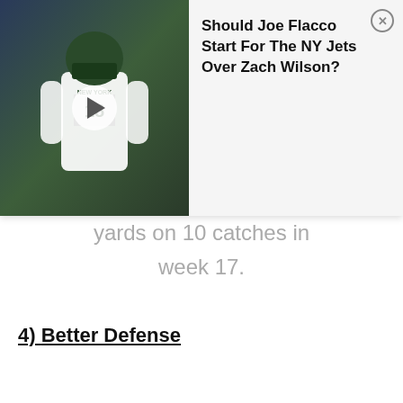[Figure (photo): NY Jets player wearing white jersey with green helmet, video thumbnail overlay]
Should Joe Flacco Start For The NY Jets Over Zach Wilson?
yards on 10 catches in week 17.
4) Better Defense
Of course Smith's main concern will be related to the performance of his fellow offensive players, but a suddenly robust secondary should result in a dramatic improvement over the 31 touchdown passes (3rd worst in the NFL) New York allowed last season.
For Smith, the secondary should be an area of relief that